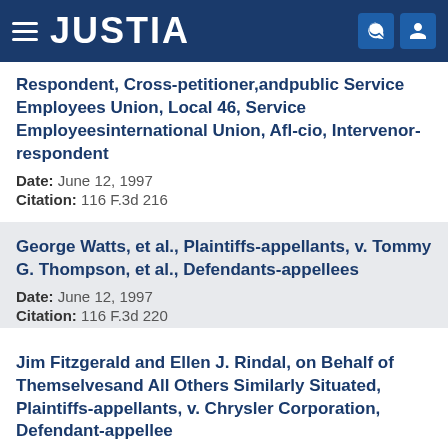JUSTIA
Respondent, Cross-petitioner,andpublic Service Employees Union, Local 46, Service Employeesinternational Union, Afl-cio, Intervenor-respondent
Date: June 12, 1997
Citation: 116 F.3d 216
George Watts, et al., Plaintiffs-appellants, v. Tommy G. Thompson, et al., Defendants-appellees
Date: June 12, 1997
Citation: 116 F.3d 220
Jim Fitzgerald and Ellen J. Rindal, on Behalf of Themselvesand All Others Similarly Situated, Plaintiffs-appellants, v. Chrysler Corporation, Defendant-appellee